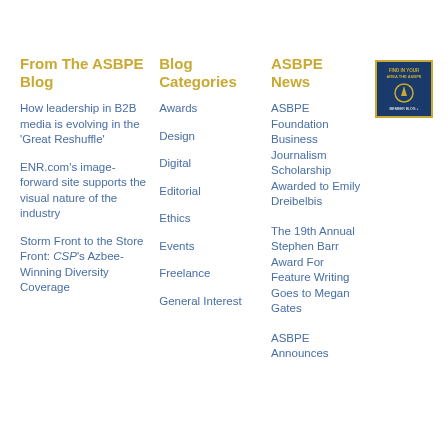From The ASBPE Blog
How leadership in B2B media is evolving in the ‘Great Reshuffle’
ENR.com’s image-forward site supports the visual nature of the industry
Storm Front to the Store Front: CSP’s Azbee-Winning Diversity Coverage
Blog Categories
Awards
Design
Digital
Editorial
Ethics
Events
Freelance
General Interest
ASBPE News
ASBPE Foundation Business Journalism Scholarship Awarded to Emily Dreibelbis
The 19th Annual Stephen Barr Award For Feature Writing Goes to Megan Gates
ASBPE Announces
[Figure (logo): ASBPE award logo thumbnail, dark blue background with gold border and gold text/icon]